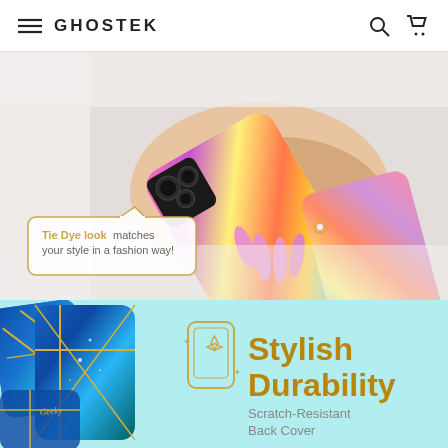GHOSTEK
[Figure (photo): A woman's hand holding a Samsung Galaxy phone in a colorful tie-dye pattern case with pink long nails and a diamond ring, wearing a white sweater. A callout box reads 'Tie Dye look matches your style in a fashion way!']
Tie Dye look matches your style in a fashion way!
[Figure (photo): Bottom section with a light blue/mint background showing phone cases with blue marble and gold geometric patterns on the left, a phone case icon with sparkle in the center, and 'Stylish Durability - Scratch-Resistant Back Cover' text on the right in gold/gray.]